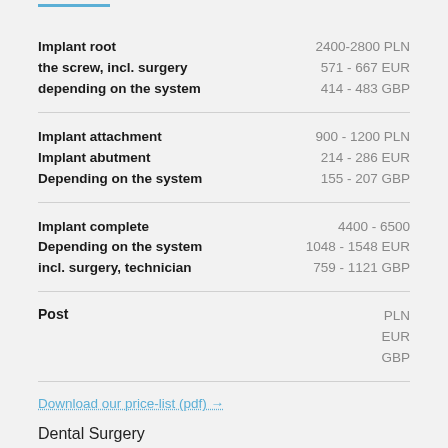Implant root the screw, incl. surgery depending on the system | 2400-2800 PLN  571 - 667 EUR  414 - 483 GBP
Implant attachment Implant abutment Depending on the system | 900 - 1200 PLN  214 - 286 EUR  155 - 207 GBP
Implant complete Depending on the system incl. surgery, technician | 4400 - 6500  1048 - 1548 EUR  759 - 1121 GBP
Post | PLN  EUR  GBP
Download our price-list (pdf) →
Dental Surgery
Tooth extraction simple | 170 PLN  40 EUR  29 GBP